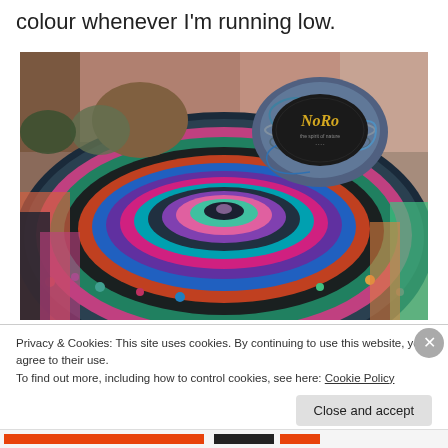colour whenever I'm running low.
[Figure (photo): A colorful crocheted granny square blanket in concentric rings of multiple colors (teal, purple, pink, orange, blue, green, brown), displayed on a surface. On top of the blanket is a ball of Noro brand yarn with a teal/blue colorway and a black label.]
Privacy & Cookies: This site uses cookies. By continuing to use this website, you agree to their use.
To find out more, including how to control cookies, see here: Cookie Policy
Close and accept